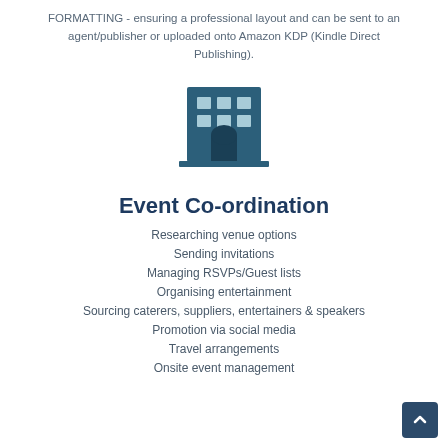FORMATTING - ensuring a professional layout and can be sent to an agent/publisher or uploaded onto Amazon KDP (Kindle Direct Publishing).
[Figure (illustration): Dark teal building/office icon representing event coordination]
Event Co-ordination
Researching venue options
Sending invitations
Managing RSVPs/Guest lists
Organising entertainment
Sourcing caterers, suppliers, entertainers & speakers
Promotion via social media
Travel arrangements
Onsite event management